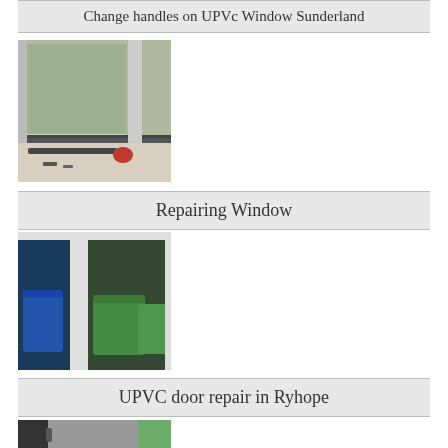Change handles on UPVc Window Sunderland
[Figure (photo): Photo of UPVc window handle being changed, with screwdriver and components visible on windowsill]
Repairing Window
[Figure (photo): Photo of sliding/repairing window showing green bins outside through glass panels]
UPVC door repair in Ryhope
[Figure (photo): Photo of UPVC door repair in Ryhope, partially visible]